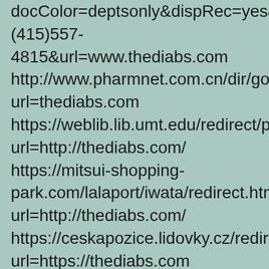docColor=deptsonly&dispRec=yes&contact=TedYamasaki&phone=(415)557-4815&url=www.thediabs.com http://www.pharmnet.com.cn/dir/go.cgi?url=thediabs.com https://weblib.lib.umt.edu/redirect/proxyselect.php?url=http://thediabs.com/ https://mitsui-shopping-park.com/lalaport/iwata/redirect.html?url=http://thediabs.com/ https://ceskapozice.lidovky.cz/redir.aspx?url=https://thediabs.com https://login.its.txstate.edu/logout?